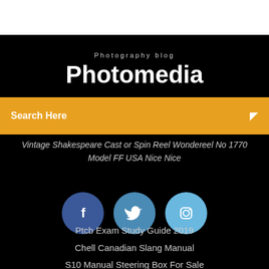Photography blog
Photomedia
Search Here
Vintage Shakespeare Cast or Spin Reel Wondereel No 1770 Model FF USA Nice Nice
[Figure (illustration): Three social media icon circles: Facebook (dark blue), Twitter (medium blue), Instagram (light blue)]
Ptcb Exam Study Guide 2019
Chell Canadian Slang Manual
S10 Manual Steering Box For Sale